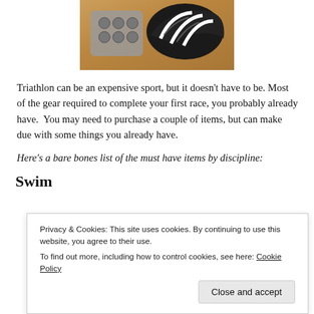[Figure (photo): A triathlon helmet and gear items laid out on a wooden surface]
Triathlon can be an expensive sport, but it doesn't have to be. Most of the gear required to complete your first race, you probably already have.  You may need to purchase a couple of items, but can make due with some things you already have.
Here's a bare bones list of the must have items by discipline:
Swim
Privacy & Cookies: This site uses cookies. By continuing to use this website, you agree to their use.
To find out more, including how to control cookies, see here: Cookie Policy
Close and accept